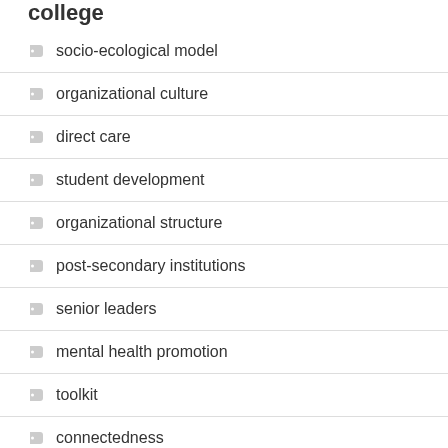socio-ecological model
organizational culture
direct care
student development
organizational structure
post-secondary institutions
senior leaders
mental health promotion
toolkit
connectedness
motivation
Summit 2009
counselling
services and supports